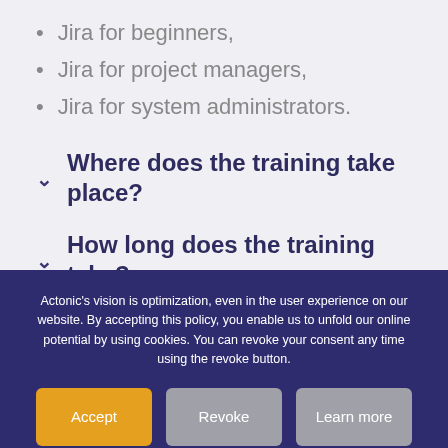Jira for beginners,
Jira for project managers,
Jira for system administrators.
Where does the training take place?
How long does the training take?
What languages is the training available in?
Actonic's vision is optimization, even in the user experience on our website. By accepting this policy, you enable us to unfold our online potential by using cookies. You can revoke your consent any time using the revoke button.
Accept | Revoke | Learn more